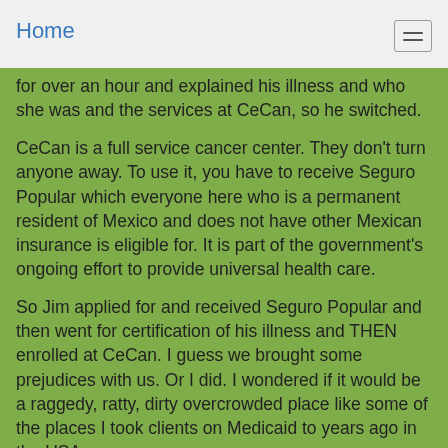Home
for over an hour and explained his illness and who she was and the services at CeCan, so he switched.
CeCan is a full service cancer center.  They don't turn anyone away.  To use it, you have to receive Seguro Popular which everyone here who is a permanent resident of Mexico and does not have other Mexican insurance is eligible for.  It is part of the government's ongoing effort to provide universal health care.
So Jim applied for and received Seguro Popular and then went for certification of his illness and THEN enrolled at CeCan.  I guess we brought some prejudices with us.  Or I did.  I wondered if it would be a raggedy, ratty, dirty overcrowded place like some of the places I took clients on Medicaid to years ago in the USA.